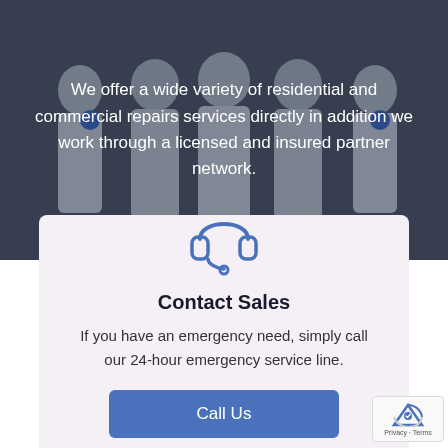[Figure (photo): Group of people in white uniforms/suits in a dark-toned background photo overlay]
We offer a wide variety of residential and commercial repairs services directly in addition we work through a licensed and insured partner network.
[Figure (illustration): Blue headset/customer support icon]
Contact Sales
If you have an emergency need, simply call our 24-hour emergency service line.